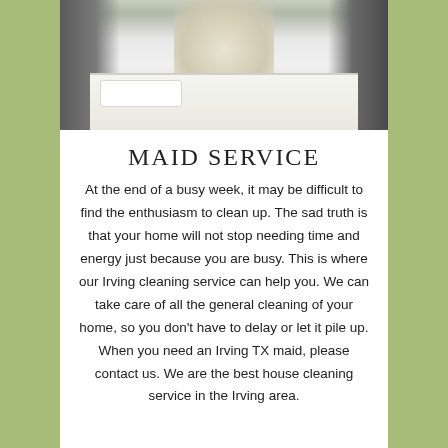[Figure (photo): Bedroom photo showing a made bed with white linens and dark curtains with window light in the background]
MAID SERVICE
At the end of a busy week, it may be difficult to find the enthusiasm to clean up. The sad truth is that your home will not stop needing time and energy just because you are busy. This is where our Irving cleaning service can help you. We can take care of all the general cleaning of your home, so you don't have to delay or let it pile up. When you need an Irving TX maid, please contact us. We are the best house cleaning service in the Irving area.